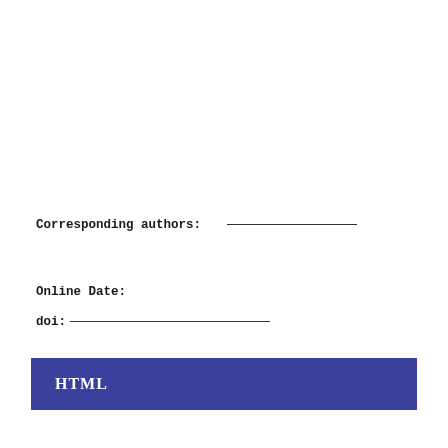Corresponding authors: ________________ ________________
Online Date:
doi: ____________________
HTML